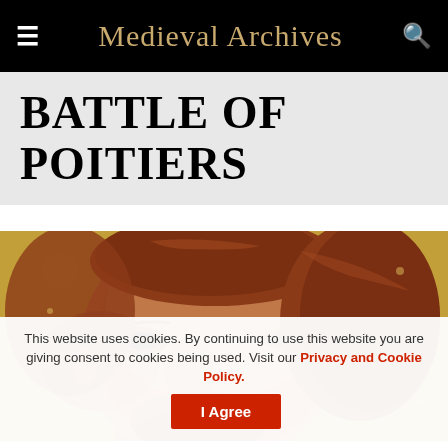Medieval Archives
BATTLE OF POITIERS
[Figure (photo): Close-up medieval portrait painting of a man with auburn/red-brown hair against a golden background, cropped to show the upper portion of the face and head.]
This website uses cookies. By continuing to use this website you are giving consent to cookies being used. Visit our Privacy and Cookie Policy.